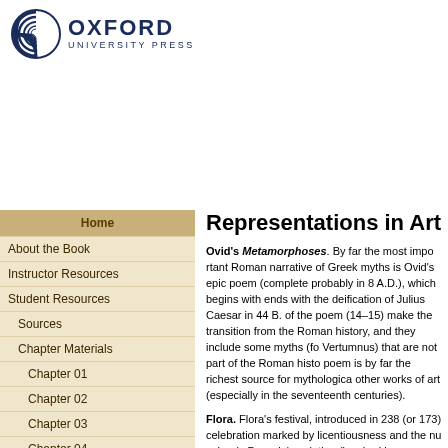[Figure (logo): Oxford University Press logo with circular emblem and text]
Home
About the Book
Instructor Resources
Student Resources
Sources
Chapter Materials
Chapter 01
Chapter 02
Chapter 03
Chapter 04
Chapter 05
Chapter 06
Chapter 07
Chapter 08
Chapter 09
Chapter 10
Representations in Art
Ovid's Metamorphoses. By far the most important Roman narrative of Greek myths is Ovid's epic poem (complete probably in 8 A.D.), which begins with creation and ends with the deification of Julius Caesar in 44 B.C. The last books of the poem (14–15) make the transition from the mythological to Roman history, and they include some myths (for example, Pomona and Vertumnus) that are not part of the Roman historical tradition. The poem is by far the richest source for mythological paintings and other works of art (especially in the seventeenth and eighteenth centuries).
Flora. Flora's festival, introduced in 238 (or 173) B.C., was a celebration marked by licentiousness and the nudity of actresses. More sober is Poussin's painting (inspired by a passage in Ovid's Fasti) The Realm of Flora (1631, now in Dresden). The Realm of Flora is populated with mythological characters (for example, Hyacinthus, Crocus, and Smilax) who were changed into flowers.